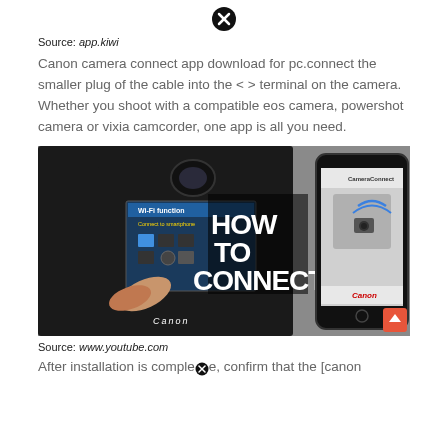[Figure (other): Close/dismiss icon (circle with X) at top center of page]
Source: app.kiwi
Canon camera connect app download for pc.connect the smaller plug of the cable into the < > terminal on the camera. Whether you shoot with a compatible eos camera, powershot camera or vixia camcorder, one app is all you need.
[Figure (photo): Photo showing a Canon DSLR camera with Wi-Fi function menu displayed on its screen showing 'Connect to smartphone', with a finger touching the screen, and a smartphone showing the CameraConnect app with Canon branding. Large text 'HOW TO CONNECT' overlaid on the image. A red scroll-up button in the bottom right corner.]
Source: www.youtube.com
After installation is complete, confirm that the [canon
[Figure (other): Close/dismiss icon (circle with X) partially visible at bottom center]